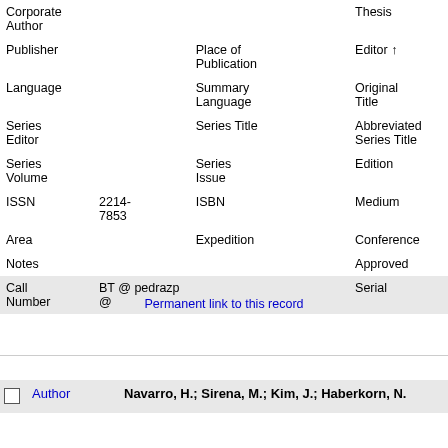| Corporate Author |  | Thesis |
| Publisher | Place of Publication | Editor ↑ |
| Language | Summary Language | Original Title |
| Series Editor | Series Title | Abbreviated Series Title |
| Series Volume | Series Issue | Edition |
| ISSN | 2214-7853 | ISBN |  | Medium |
| Area |  | Expedition |  | Conference |
| Notes |  |  |  | Approved |
| Call Number | BT @ pedrazp @ |  |  | Serial |
Permanent link to this record
| Author |
| --- |
| Navarro, H.; Sirena, M.; Kim, J.; Haberkorn, N. |